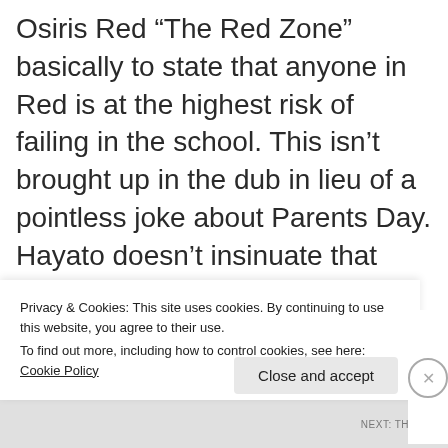Osiris Red “The Red Zone” basically to state that anyone in Red is at the highest risk of failing in the school. This isn’t brought up in the dub in lieu of a pointless joke about Parents Day. Hayato doesn’t insinuate that some students in Obelisk Blue got in through connections like Chumley states. Hayato also doesn’t call the Osiris Red students “The Red Wonders” to make a joke about how it’s a ‘wonder’ they ever got in to begin with
Privacy & Cookies: This site uses cookies. By continuing to use this website, you agree to their use.
To find out more, including how to control cookies, see here: Cookie Policy
Close and accept